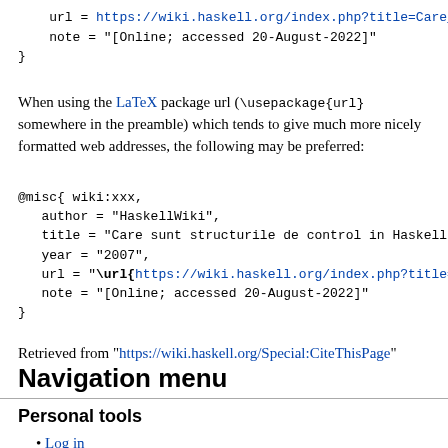url = https://wiki.haskell.org/index.php?title=Care_s...
    note = "[Online; accessed 20-August-2022]"
}
When using the LaTeX package url (\usepackage{url} somewhere in the preamble) which tends to give much more nicely formatted web addresses, the following may be preferred:
@misc{ wiki:xxx,
   author = "HaskellWiki",
   title = "Care sunt structurile de control in Haskell ?",
   year = "2007",
   url = "\url{https://wiki.haskell.org/index.php?title=C...",
   note = "[Online; accessed 20-August-2022]"
}
Retrieved from "https://wiki.haskell.org/Special:CiteThisPage"
Navigation menu
Personal tools
Log in